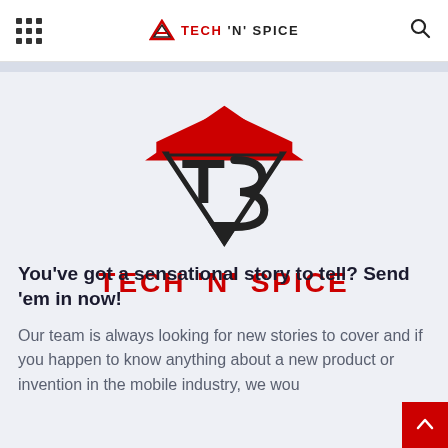TECH 'N' SPICE
[Figure (logo): Tech N Spice logo — a stylized TS monogram inside nested triangles in red and black, with the text TECH 'N' SPICE below in bold red capitals]
You've got a sensational story to tell? Send 'em in now!
Our team is always looking for new stories to cover and if you happen to know anything about a new product or invention in the mobile industry, we wou